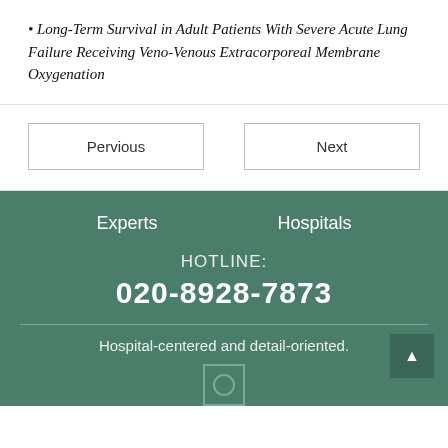Long-Term Survival in Adult Patients With Severe Acute Lung Failure Receiving Veno-Venous Extracorporeal Membrane Oxygenation
Pervious
Next
Experts
Hospitals
HOTLINE:
020-8928-7873
Hospital-centered and detail-oriented.